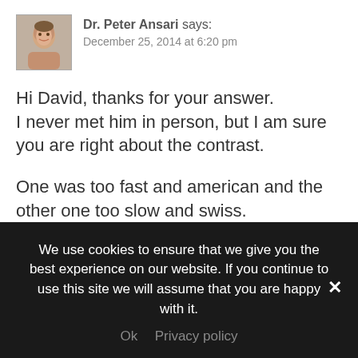[Figure (photo): Avatar photo of Dr. Peter Ansari, a man with short hair]
Dr. Peter Ansari says:
December 25, 2014 at 6:20 pm
Hi David, thanks for your answer.
I never met him in person, but I am sure you are right about the contrast.

One was too fast and american and the other one too slow and swiss.
One was convincing and smart and the other one a smart aleck and boring.

… But that's not the whole story. To some extent
We use cookies to ensure that we give you the best experience on our website. If you continue to use this site we will assume that you are happy with it.

Ok   Privacy policy